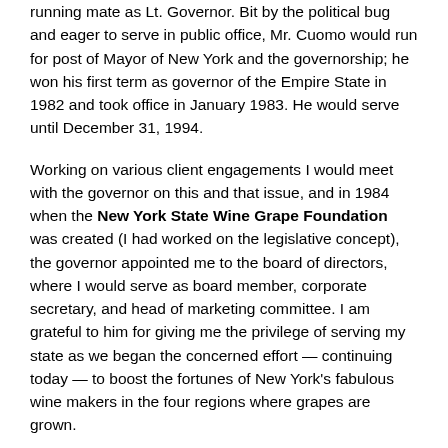running mate as Lt. Governor.  Bit by the political bug and eager to serve in public office, Mr. Cuomo would run for post of Mayor of New York and the governorship; he won his first term as governor of the Empire State  in 1982 and took office in January 1983.  He would serve until December 31, 1994.
Working on various client engagements I would meet with the governor on this and that issue, and in 1984 when the New York State Wine Grape Foundation was created (I had worked on the legislative concept), the governor appointed me to the board of directors, where I would serve as board member, corporate secretary, and head of marketing committee. I am grateful to him for giving me the privilege of serving my state as we began the concerned effort — continuing today — to boost the fortunes of New York's fabulous wine makers in the four regions where grapes are grown.
I was also privileged to assist with several projects on a pro bono basis.  As the governor was considering a run for the presidency (which considered twice), he decided in